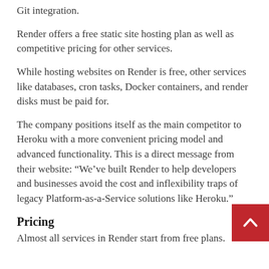Git integration.
Render offers a free static site hosting plan as well as competitive pricing for other services.
While hosting websites on Render is free, other services like databases, cron tasks, Docker containers, and render disks must be paid for.
The company positions itself as the main competitor to Heroku with a more convenient pricing model and advanced functionality. This is a direct message from their website: “We’ve built Render to help developers and businesses avoid the cost and inflexibility traps of legacy Platform-as-a-Service solutions like Heroku.”
Pricing
Almost all services in Render start from free plans.